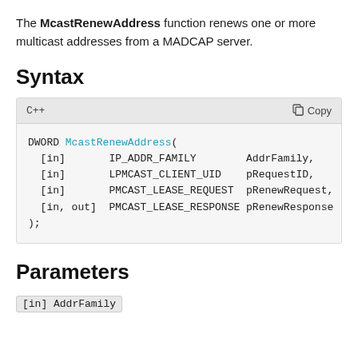The McastRenewAddress function renews one or more multicast addresses from a MADCAP server.
Syntax
[Figure (screenshot): C++ code block showing DWORD McastRenewAddress function signature with parameters [in] IP_ADDR_FAMILY AddrFamily, [in] LPMCAST_CLIENT_UID pRequestID, [in] PMCAST_LEASE_REQUEST pRenewRequest, [in, out] PMCAST_LEASE_RESPONSE pRenewResponse]
Parameters
[in] AddrFamily